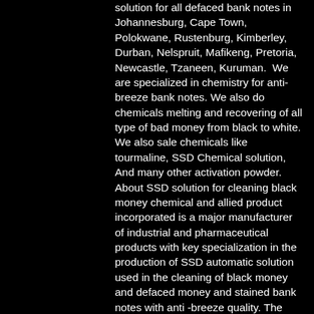solution for all defaced bank notes in Johannesburg, Cape Town, Polokwane, Rustenburg, Kimberley, Durban, Nelspruit, Mafikeng, Pretoria, Newcastle, Tzaneen, Kuruman.  We are specialized in chemistry for anti-breeze bank notes. We also do chemicals melting and recovering of all type of bad money from black to white. We also sale chemicals like tourmaline, SSD Chemical solution, And many other activation powder. About SSD solution for cleaning black money chemical and allied product incorporated is a major manufacturer of industrial and pharmaceutical products with key specialization in the production of SSD automatic solution used in the cleaning of black money and defaced money and stained bank notes with anti -breeze quality. The SSD solution in its full range is the best chemical in the market for cleaning anti breeze bank notes, defaced currency, and